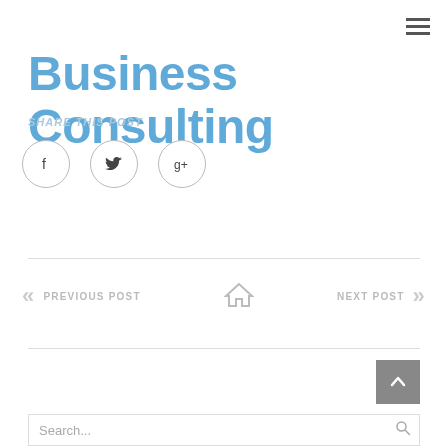Business Consulting
Share This Post
[Figure (other): Social share buttons: Facebook (f), Twitter (bird), Google+ (g+) icons in circles]
« PREVIOUS POST    🏠    NEXT POST »
Search...